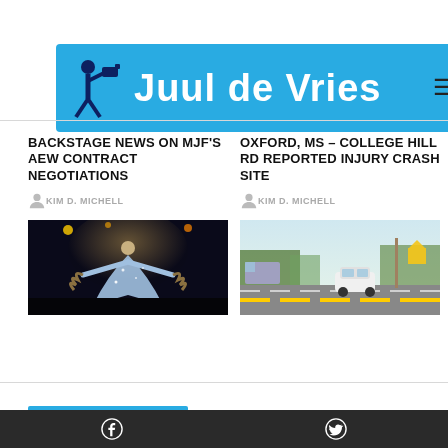Juul de Vries
BACKSTAGE NEWS ON MJF'S AEW CONTRACT NEGOTIATIONS
KIM D. MICHELL
[Figure (photo): Performer on stage in a sparkly cape with arms outstretched, dramatic lighting]
OXFORD, MS – COLLEGE HILL RD REPORTED INJURY CRASH SITE
KIM D. MICHELL
[Figure (photo): Road scene with a white car on a multi-lane road, trees and signs visible in background]
Facebook  Twitter